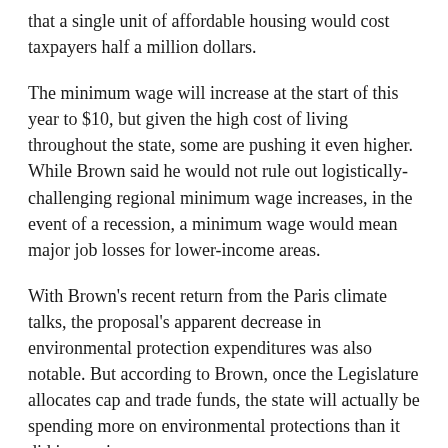that a single unit of affordable housing would cost taxpayers half a million dollars.
The minimum wage will increase at the start of this year to $10, but given the high cost of living throughout the state, some are pushing it even higher. While Brown said he would not rule out logistically-challenging regional minimum wage increases, in the event of a recession, a minimum wage would mean major job losses for lower-income areas.
With Brown's recent return from the Paris climate talks, the proposal's apparent decrease in environmental protection expenditures was also notable. But according to Brown, once the Legislature allocates cap and trade funds, the state will actually be spending more on environmental protections than it did in previous years.
Brown added, however, that the meeting the 2030 goals set at the Paris summit will be challenging.